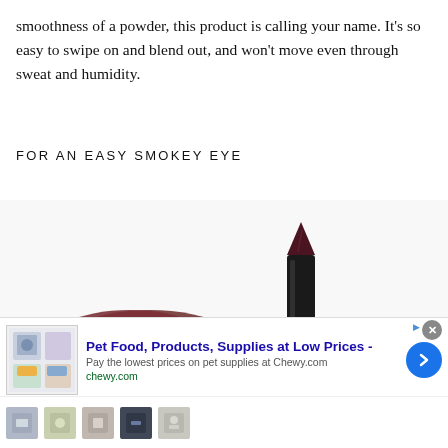smoothness of a powder, this product is calling your name. It's so easy to swipe on and blend out, and won't move even through sweat and humidity.
FOR AN EASY SMOKEY EYE
[Figure (photo): A dark brown/burgundy glitter eyeshadow swatch smear on the left and a dark black-bodied eye pencil/crayon standing upright on the right, against a white background.]
[Figure (screenshot): Advertisement banner for Chewy.com: Pet Food, Products, Supplies at Low Prices - Pay the lowest prices on pet supplies at Chewy.com. Shows product thumbnails and a blue circular arrow button. Has a close X button and AdChoices icon.]